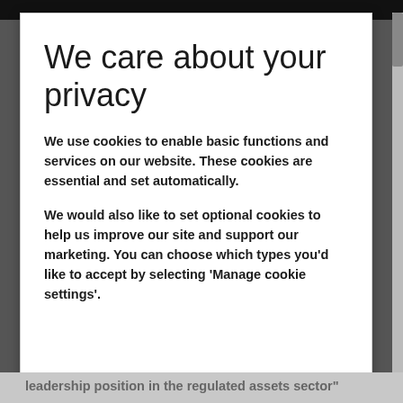We care about your privacy
We use cookies to enable basic functions and services on our website. These cookies are essential and set automatically.
We would also like to set optional cookies to help us improve our site and support our marketing. You can choose which types you'd like to accept by selecting 'Manage cookie settings'.
leadership position in the regulated assets sector"